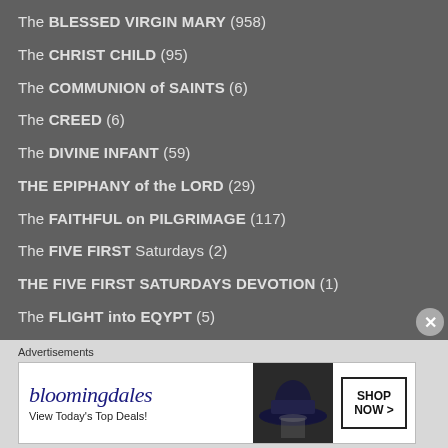The BLESSED VIRGIN MARY (958)
The CHRIST CHILD (95)
The COMMUNION of SAINTS (6)
The CREED (6)
The DIVINE INFANT (59)
THE EPIPHANY of the LORD (29)
The FAITHFUL on PILGRIMAGE (117)
The FIVE FIRST Saturdays (2)
THE FIVE FIRST SATURDAYS DEVOTION (1)
The FLIGHT into EQYPT (5)
The FOUR CARDINAL VIRTUES (12)
[Figure (infographic): Bloomingdales advertisement banner: logo text 'bloomingdales', tagline 'View Today's Top Deals!', image of woman with large hat, button 'SHOP NOW >']
Advertisements